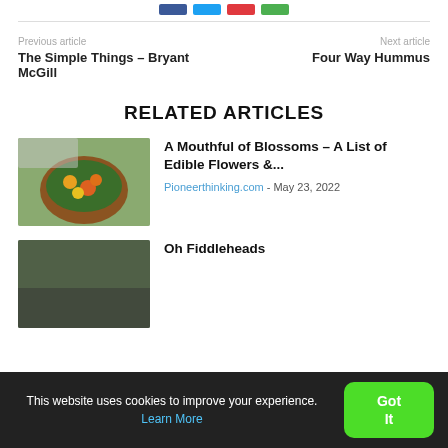[Share buttons row]
Previous article — The Simple Things – Bryant McGill
Next article — Four Way Hummus
RELATED ARTICLES
[Figure (photo): Bowl of salad with edible flowers including orange and yellow blossoms]
A Mouthful of Blossoms – A List of Edible Flowers &...
Pioneerthinking.com - May 23, 2022
[Figure (photo): Blurred outdoor photo]
Oh Fiddleheads
This website uses cookies to improve your experience. Learn More